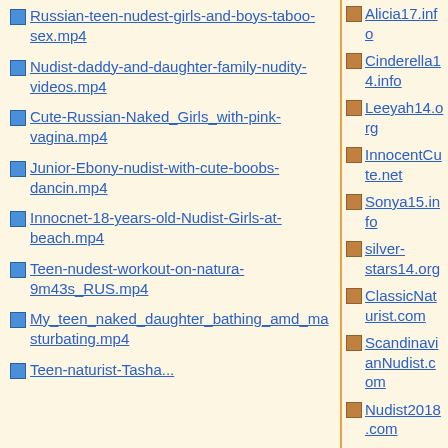Russian-teen-nudest-girls-and-boys-taboo-sex.mp4
Nudist-daddy-and-daughter-family-nudity-videos.mp4
Cute-Russian-Naked_Girls_with-pink-vagina.mp4
Junior-Ebony-nudist-with-cute-boobs-dancin.mp4
Innocnet-18-years-old-Nudist-Girls-at-beach.mp4
Teen-nudest-workout-on-natura-9m43s_RUS.mp4
My_teen_naked_daughter_bathing_amd_masturbating.mp4
Teen-naturist-Tasha...
Alicia17.info
Cinderella14.info
Leeyah14.org
InnocentCute.net
Sonya15.info
silver-stars14.org
ClassicNaturist.com
ScandinavianNudist.com
Nudist2018.com
Nora15.mobi
YuniorPornForum.net
toungyouth.mobi
toungpretty.com